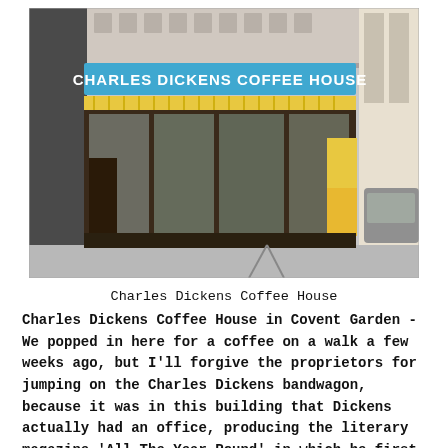[Figure (photo): Exterior photo of Charles Dickens Coffee House in Covent Garden. The storefront has a prominent blue sign with white text reading 'CHARLES DICKENS COFFEE HOUSE'. The building has large dark wood-framed windows displaying menus and signs. There are yellow sandwich boards on the pavement and a car visible on the right side.]
Charles Dickens Coffee House
Charles Dickens Coffee House in Covent Garden - We popped in here for a coffee on a walk a few weeks ago, but I'll forgive the proprietors for jumping on the Charles Dickens bandwagon, because it was in this building that Dickens actually had an office, producing the literary magazine 'All The Year Round' in which he first serialised a number of his novels.